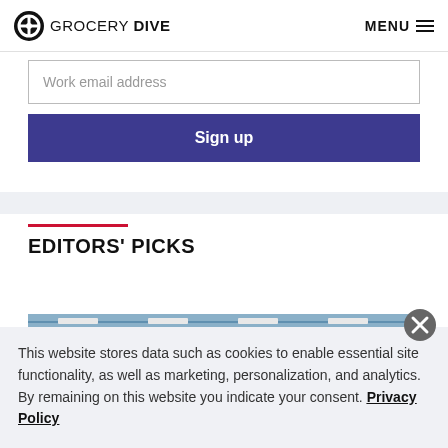GROCERY DIVE | MENU
Work email address
Sign up
EDITORS' PICKS
[Figure (photo): Interior of a grocery store showing product shelves with colorful packaging and warehouse-style ceiling.]
This website stores data such as cookies to enable essential site functionality, as well as marketing, personalization, and analytics. By remaining on this website you indicate your consent. Privacy Policy